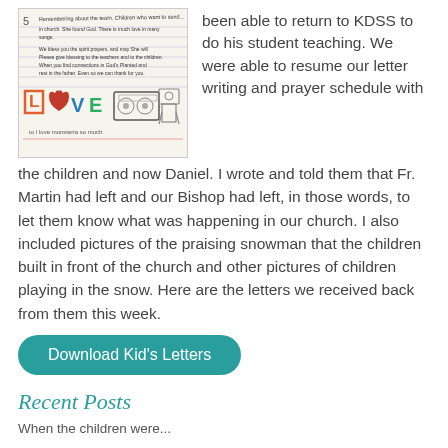[Figure (illustration): A hand-drawn children's letter/artwork page with colorful text and drawings including the word 'LOVE' with decorations, a radio/boombox drawing, and text at the bottom reading 'to I love monsteria so much']
been able to return to KDSS to do his student teaching. We were able to resume our letter writing and prayer schedule with the children and now Daniel. I wrote and told them that Fr. Martin had left and our Bishop had left, in those words, to let them know what was happening in our church. I also included pictures of the praising snowman that the children built in front of the church and other pictures of children playing in the snow. Here are the letters we received back from them this week.
Download Kid's Letters
Recent Posts
When the children were...